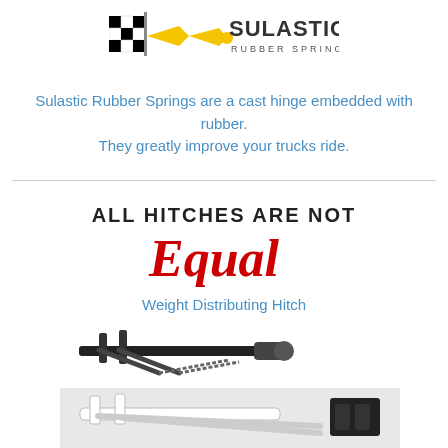[Figure (logo): Sulastic Rubber Springs logo with checkered flag and yellow hinge graphic]
Sulastic Rubber Springs are a cast hinge embedded with rubber. They greatly improve your trucks ride.
[Figure (infographic): Text graphic reading ALL HITCHES ARE NOT Equal in bold black and red script]
Weight Distributing Hitch
[Figure (photo): Photo of a weight distributing hitch assembly]
[Figure (photo): Photo of another hitch assembly on white background]